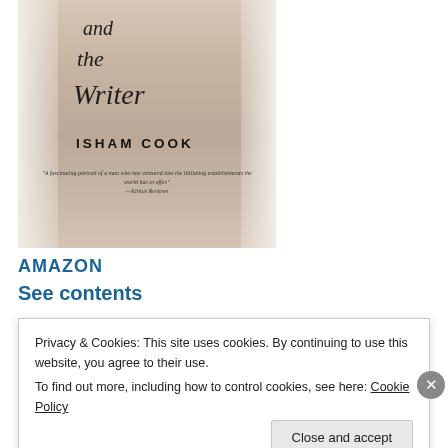[Figure (illustration): Book cover for 'And the Writer' by Isham Cook. Shows a human torso draped with a white towel. Cursive script text reads 'and the Writer'. Author name 'ISHAM COOK' in bold capitals. Small italic quote at bottom: 'A fascinating portrait of a man who has ventured into the titillating establishments the world has to offer.' —Kirkus Reviews]
AMAZON
See contents
Privacy & Cookies: This site uses cookies. By continuing to use this website, you agree to their use.
To find out more, including how to control cookies, see here: Cookie Policy
Close and accept